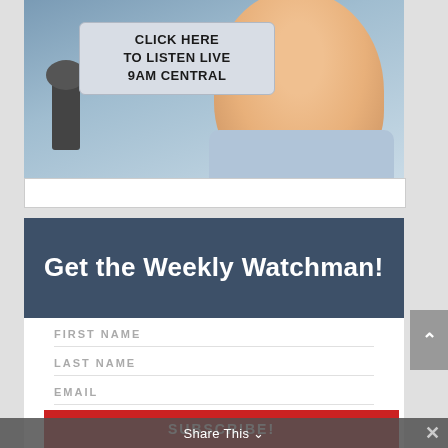[Figure (photo): A smiling man near a microphone with a 'Click Here to Listen Live 9AM Central' badge overlay on a blue-gray background]
Get the Weekly Watchman!
FIRST NAME
LAST NAME
EMAIL
SUBSCRIBE!
Share This ∨